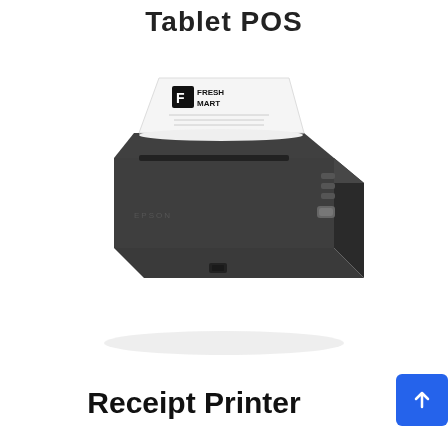Tablet POS
[Figure (photo): Photo of a dark grey Epson thermal receipt printer with a receipt printed with 'F FRESH MART' logo coming out of the top paper slot.]
Receipt Printer